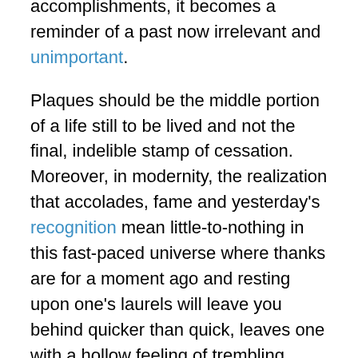accomplishments, it becomes a reminder of a past now irrelevant and unimportant.
Plaques should be the middle portion of a life still to be lived and not the final, indelible stamp of cessation. Moreover, in modernity, the realization that accolades, fame and yesterday's recognition mean little-to-nothing in this fast-paced universe where thanks are for a moment ago and resting upon one's laurels will leave you behind quicker than quick, leaves one with a hollow feeling of trembling insecurities.
The empty plaque is the one you hope will carry you through when nothing much happens, even when you know it will not.
For Federal employees and U.S. Postal workers who suffer from a medical condition, where the medical